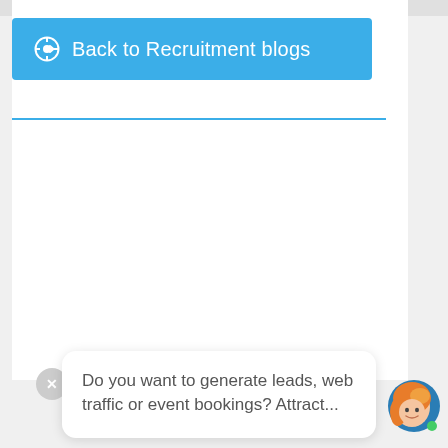[Figure (screenshot): Blue button labeled 'Back to Recruitment blogs' with a circle-arrow icon on the left, on a white background with a blue horizontal rule below it]
Do you want to generate leads, web traffic or event bookings? Attract...